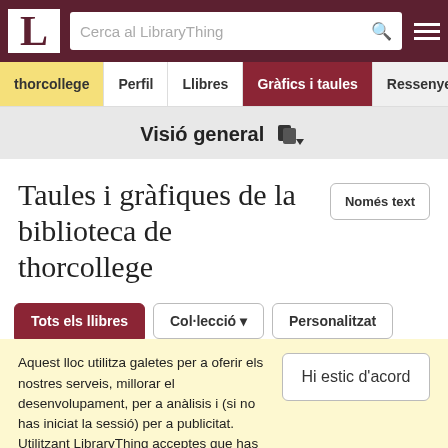LibraryThing – Cerca al LibraryThing
thorcollege | Perfil | Llibres | Gràfics i taules | Ressenyes
Visió general
Taules i gràfiques de la biblioteca de thorcollege
Només text
Tots els llibres | Col·lecció | Personalitzat
Aquest lloc utilitza galetes per a oferir els nostres serveis, millorar el desenvolupament, per a anàlisis i (si no has iniciat la sessió) per a publicitat. Utilitzant LibraryThing acceptes que has llegit i entès els nostres Termes de servei i política de privacitat. L'ús que facis del lloc i dels seus serveis està subjecte a aquestes polítiques i termes.
Hi estic d'acord